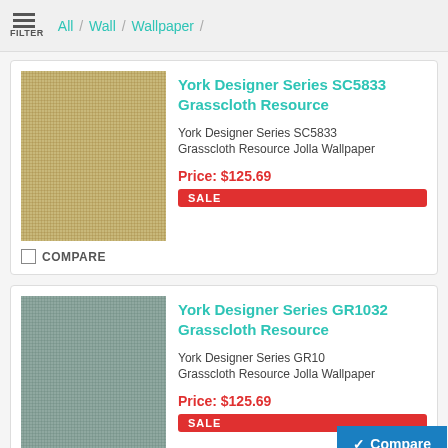FILTER / All / Wall / Wallpaper /
York Designer Series SC5833 Grasscloth Resource
York Designer Series SC5833
Grasscloth Resource Jolla Wallpaper
Price: $125.69
SALE
COMPARE
York Designer Series GR1032 Grasscloth Resource
York Designer Series GR10
Grasscloth Resource Jolla Wallpaper
Price: $125.69
SALE
Compare